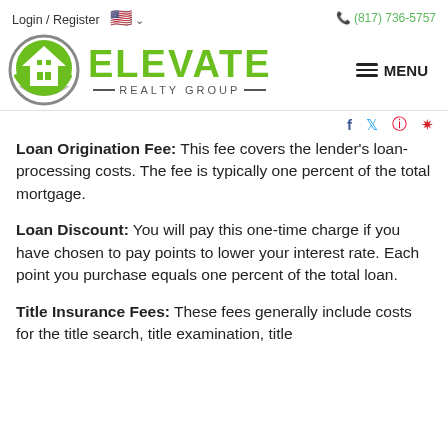Login / Register    (817) 736-5757
[Figure (logo): Elevate Realty Group logo with green circular house icon and green ELEVATE text with REALTY GROUP subtitle]
Loan Origination Fee: This fee covers the lender's loan-processing costs. The fee is typically one percent of the total mortgage.
Loan Discount: You will pay this one-time charge if you have chosen to pay points to lower your interest rate. Each point you purchase equals one percent of the total loan.
Title Insurance Fees: These fees generally include costs for the title search, title examination, title